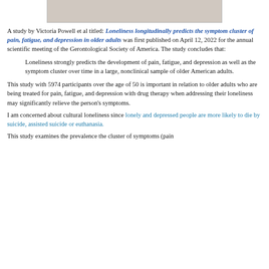[Figure (photo): Partial image of people (cropped at top), showing what appears to be older adults]
A study by Victoria Powell et al titled: Loneliness longitudinally predicts the symptom cluster of pain, fatigue, and depression in older adults was first published on April 12, 2022 for the annual scientific meeting of the Gerontological Society of America. The study concludes that:
Loneliness strongly predicts the development of pain, fatigue, and depression as well as the symptom cluster over time in a large, nonclinical sample of older American adults.
This study with 5974 participants over the age of 50 is important in relation to older adults who are being treated for pain, fatigue, and depression with drug therapy when addressing their loneliness may significantly relieve the person's symptoms.
I am concerned about cultural loneliness since lonely and depressed people are more likely to die by suicide, assisted suicide or euthanasia.
This study examines the prevalence the cluster of symptoms (pain